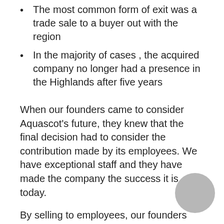The most common form of exit was a trade sale to a buyer out with the region
In the majority of cases , the acquired company no longer had a presence in the Highlands after five years
When our founders came to consider Aquascot's future, they knew that the final decision had to consider the contribution made by its employees. We have exceptional staff and they have made the company the success it is today.
By selling to employees, our founders have enabled this success to continue, and Aquascot will remain in Alness providing jobs and opportunities for years to come.
Friday's event encouraged several businesses to explore employee ownership more closely, and with Aquascot as an example, this can only be good news for the local